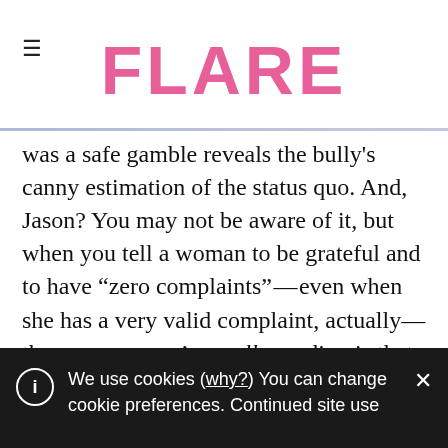FLARE
was a safe gamble reveals the bully's canny estimation of the status quo. And, Jason? You may not be aware of it, but when you tell a woman to be grateful and to have “zero complaints”—even when she has a very valid complaint, actually—the message you’re really sending is that complaining about abuse is somehow worse than being abusive.
We use cookies (why?) You can change cookie preferences. Continued site use